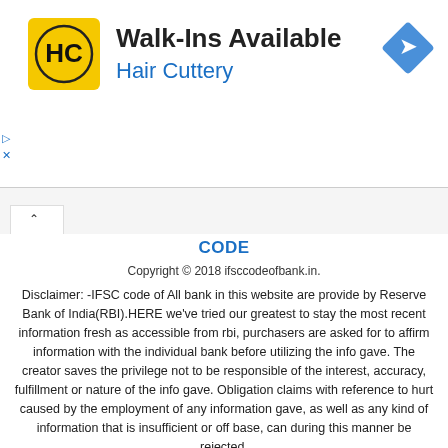[Figure (advertisement): Hair Cuttery advertisement banner with yellow HC logo, 'Walk-Ins Available' heading, 'Hair Cuttery' subheading in blue, and a blue diamond direction sign icon on the right.]
CODE
Copyright © 2018 ifsccodeofbank.in.
Disclaimer: -IFSC code of All bank in this website are provide by Reserve Bank of India(RBI).HERE we've tried our greatest to stay the most recent information fresh as accessible from rbi, purchasers are asked for to affirm information with the individual bank before utilizing the info gave. The creator saves the privilege not to be responsible of the interest, accuracy, fulfillment or nature of the info gave. Obligation claims with reference to hurt caused by the employment of any information gave, as well as any kind of information that is insufficient or off base, can during this manner be rejected.
W3C HTML|W3C CSS
Facebook